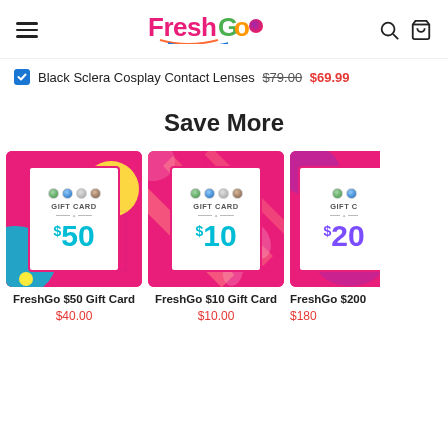FreshGo
Black Sclera Cosplay Contact Lenses $79.00 $69.99
Save More
[Figure (illustration): FreshGo $50 Gift Card product image — pink background with decorative shapes, white gift card box showing four contact lens dots and '$50' in teal]
FreshGo $50 Gift Card
$40.00
[Figure (illustration): FreshGo $10 Gift Card product image — pink/red striped background, white gift card box showing four contact lens dots and '$10' in teal]
FreshGo $10 Gift Card
$10.00
[Figure (illustration): FreshGo $200 Gift Card product image — partially visible, pink/purple background, white gift card box showing contact lens dots and '$20X' in purple (cropped)]
FreshGo $200
$180